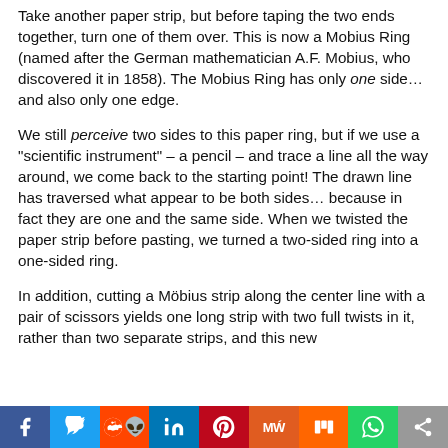Take another paper strip, but before taping the two ends together, turn one of them over. This is now a Mobius Ring (named after the German mathematician A.F. Mobius, who discovered it in 1858). The Mobius Ring has only one side… and also only one edge.
We still perceive two sides to this paper ring, but if we use a "scientific instrument" – a pencil – and trace a line all the way around, we come back to the starting point! The drawn line has traversed what appear to be both sides… because in fact they are one and the same side. When we twisted the paper strip before pasting, we turned a two-sided ring into a one-sided ring.
In addition, cutting a Möbius strip along the center line with a pair of scissors yields one long strip with two full twists in it, rather than two separate strips, and this new
[Figure (infographic): Social media sharing bar with icons for Facebook, Twitter, Reddit, LinkedIn, Pinterest, MeWe, Mix, WhatsApp, and Share]